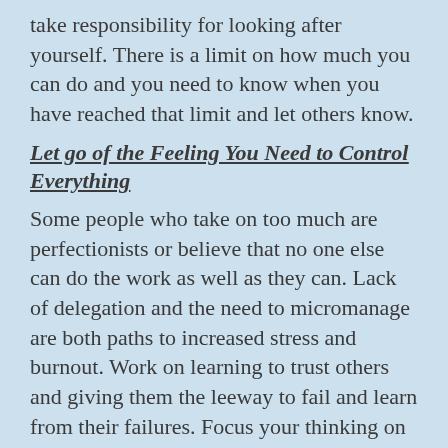take responsibility for looking after yourself. There is a limit on how much you can do and you need to know when you have reached that limit and let others know.
Let go of the Feeling You Need to Control Everything
Some people who take on too much are perfectionists or believe that no one else can do the work as well as they can. Lack of delegation and the need to micromanage are both paths to increased stress and burnout. Work on learning to trust others and giving them the leeway to fail and learn from their failures. Focus your thinking on situations where others were in control and everything turned out fine.
Ask for Help